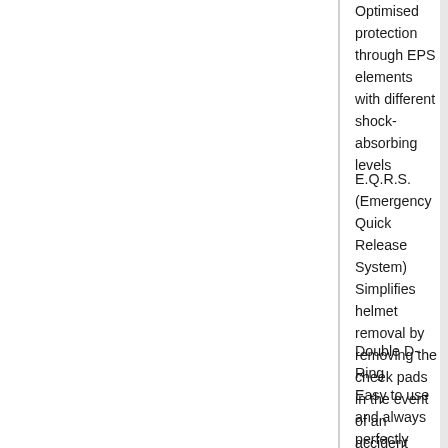Optimised protection through EPS elements with different shock-absorbing levels
E.Q.R.S.
(Emergency Quick Release System) Simplifies helmet removal by removing the cheek pads in the event of an accident
Double D-Ring
Easy to use and always perfectly adjusted
Including mud guard
WEARING COMFORT
4 different outer shell